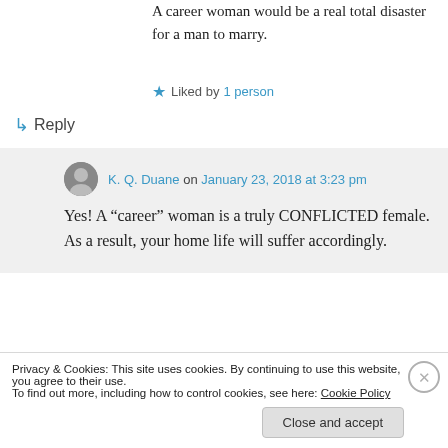A career woman would be a real total disaster for a man to marry.
★ Liked by 1 person
↳ Reply
K. Q. Duane on January 23, 2018 at 3:23 pm
Yes! A “career” woman is a truly CONFLICTED female. As a result, your home life will suffer accordingly.
Privacy & Cookies: This site uses cookies. By continuing to use this website, you agree to their use.
To find out more, including how to control cookies, see here: Cookie Policy